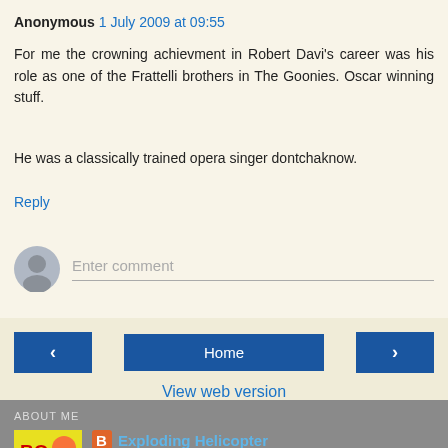Anonymous 1 July 2009 at 09:55
For me the crowning achievment in Robert Davi's career was his role as one of the Frattelli brothers in The Goonies. Oscar winning stuff.
He was a classically trained opera singer dontchaknow.
Reply
[Figure (screenshot): Comment input area with avatar icon and Enter comment placeholder text]
[Figure (screenshot): Navigation bar with left arrow, Home button, right arrow, and View web version link]
ABOUT ME
[Figure (screenshot): About Me section with comic book image, Blogger icon, Exploding Helicopter title, and description text]
Exploding Helicopter
Helicopters in films have a curious tendency to blow-